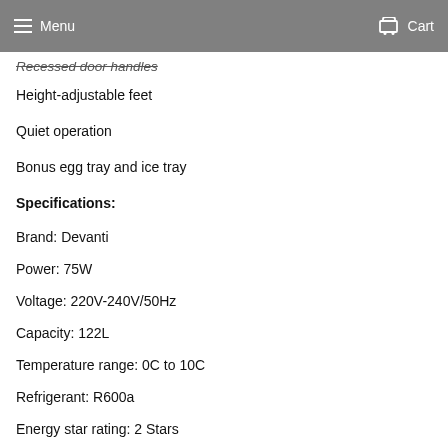Menu  Cart
Recessed door handles
Height-adjustable feet
Quiet operation
Bonus egg tray and ice tray
Specifications:
Brand: Devanti
Power: 75W
Voltage: 220V-240V/50Hz
Capacity: 122L
Temperature range: 0C to 10C
Refrigerant: R600a
Energy star rating: 2 Stars